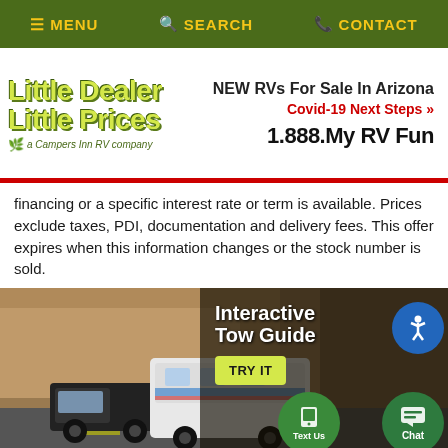≡ MENU  🔍 SEARCH  📞 CONTACT
[Figure (logo): Little Dealer Little Prices logo, a Campers Inn RV company]
NEW RVs For Sale In Arizona
Covid-19 Next Steps »
1.888.My RV Fun
financing or a specific interest rate or term is available. Prices exclude taxes, PDI, documentation and delivery fees. This offer expires when this information changes or the stock number is sold.
[Figure (illustration): Truck towing a fifth-wheel RV on a highway with rocky cliffs. Overlay text: Interactive Tow Guide. TRY IT button. Text Us and Chat floating buttons.]